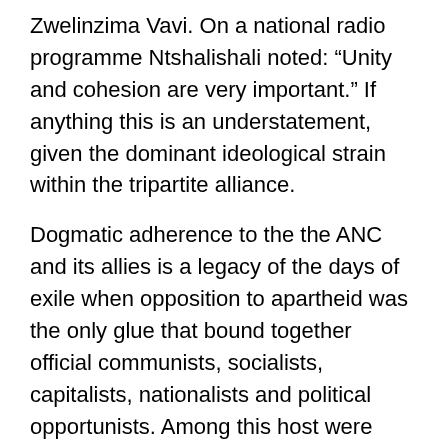Zwelinzima Vavi. On a national radio programme Ntshalishali noted: “Unity and cohesion are very important.” If anything this is an understatement, given the dominant ideological strain within the tripartite alliance.
Dogmatic adherence to the the ANC and its allies is a legacy of the days of exile when opposition to apartheid was the only glue that bound together official communists, socialists, capitalists, nationalists and political opportunists. Among this host were idealists, cynics, thieves, rogues, the craven and the brave. In short, a good cross-section of an authoritarian and racist society.
Added to this mix were individuals who, for one or other reason, served the interests of the apartheid state and had been infiltrated into the exile ranks from as early as 1963. Awareness of this created an atmosphere of paranoia in